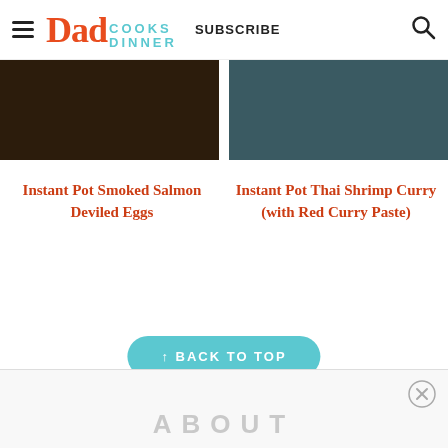Dad Cooks Dinner — SUBSCRIBE
[Figure (photo): Two food photos side by side: left shows a dark smoked salmon dish, right shows a teal/blue-toned Thai shrimp curry dish]
Instant Pot Smoked Salmon Deviled Eggs
Instant Pot Thai Shrimp Curry (with Red Curry Paste)
↑ BACK TO TOP
ABOUT